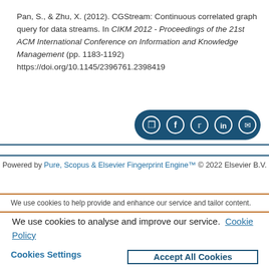Pan, S., & Zhu, X. (2012). CGStream: Continuous correlated graph query for data streams. In CIKM 2012 - Proceedings of the 21st ACM International Conference on Information and Knowledge Management (pp. 1183-1192) https://doi.org/10.1145/2396761.2398419
[Figure (other): Social share button bar with share, Facebook, Twitter, LinkedIn, and email icons on dark blue background]
Powered by Pure, Scopus & Elsevier Fingerprint Engine™ © 2022 Elsevier B.V.
We use cookies to help provide and enhance our service and tailor content.
We use cookies to analyse and improve our service. Cookie Policy
Cookies Settings    Accept All Cookies